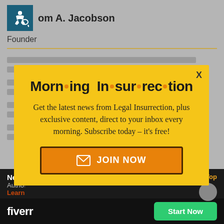om A. Jacobson — Founder
[Figure (screenshot): Background webpage with accessibility icon, author name 'om A. Jacobson', role 'Founder', a gold divider line, and partially visible article text]
[Figure (infographic): Modal popup with yellow background. Title: 'Morn·ing In·sur·rec·tion'. Body text: 'Get the latest news from Legal Insurrection, plus exclusive content, direct to your inbox every morning. Subscribe today – it's free!' Orange 'JOIN NOW' button with envelope icon. X close button in top right.]
Get the latest news from Legal Insurrection, plus exclusive content, direct to your inbox every morning. Subscribe today – it's free!
JOIN NOW
New Neo
Author
Learn
dy Nagy
Back to Top
[Figure (logo): Fiverr logo on black bar with green 'Start Now' button]